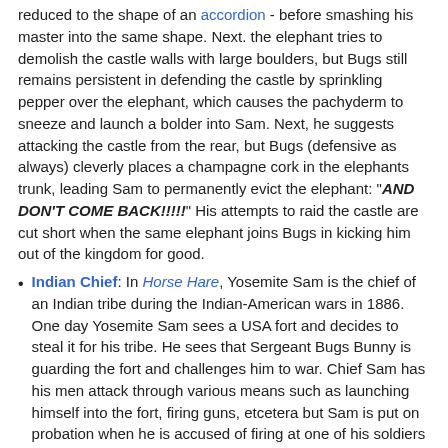reduced to the shape of an accordion - before smashing his master into the same shape. Next. the elephant tries to demolish the castle walls with large boulders, but Bugs still remains persistent in defending the castle by sprinkling pepper over the elephant, which causes the pachyderm to sneeze and launch a bolder into Sam. Next, he suggests attacking the castle from the rear, but Bugs (defensive as always) cleverly places a champagne cork in the elephants trunk, leading Sam to permanently evict the elephant: "AND DON'T COME BACK!!!!!" His attempts to raid the castle are cut short when the same elephant joins Bugs in kicking him out of the kingdom for good.
Indian Chief: In Horse Hare, Yosemite Sam is the chief of an Indian tribe during the Indian-American wars in 1886. One day Yosemite Sam sees a USA fort and decides to steal it for his tribe. He sees that Sergeant Bugs Bunny is guarding the fort and challenges him to war. Chief Sam has his men attack through various means such as launching himself into the fort, firing guns, etcetera but Sam is put on probation when he is accused of firing at one of his soldiers (It was actually Bugs).